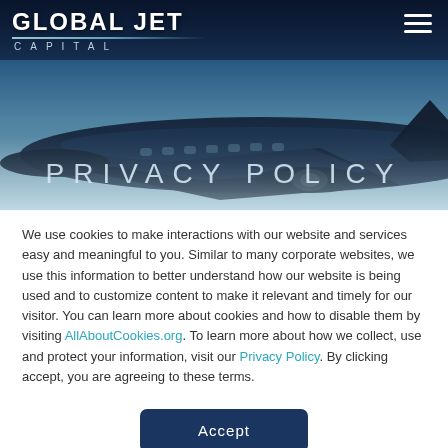[Figure (photo): Hero banner showing a private jet aircraft against a blue sky, with Global Jet Capital logo in top left and hamburger menu icon in top right. 'PRIVACY POLICY' title overlaid at bottom of image.]
PRIVACY POLICY
We use cookies to make interactions with our website and services easy and meaningful to you. Similar to many corporate websites, we use this information to better understand how our website is being used and to customize content to make it relevant and timely for our visitor. You can learn more about cookies and how to disable them by visiting AllAboutCookies.org. To learn more about how we collect, use and protect your information, visit our Privacy Policy. By clicking accept, you are agreeing to these terms.
Accept